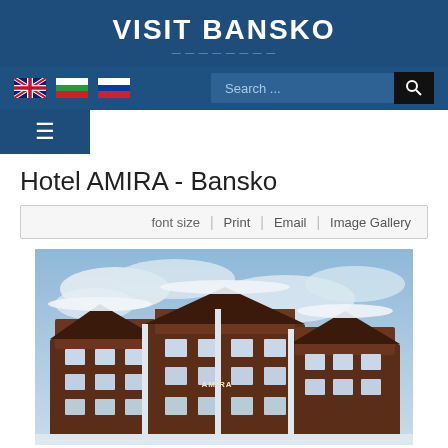VISIT BANSKO
[Figure (screenshot): Navigation bar with UK, Bulgarian, and Russian flags and a search box]
[Figure (screenshot): Hamburger menu icon navigation bar]
Hotel AMIRA - Bansko
font size | Print | Email | Image Gallery
[Figure (photo): Exterior photo of Hotel AMIRA in Bansko showing a multi-story brown and white building with snow-covered roof against a cloudy sky]